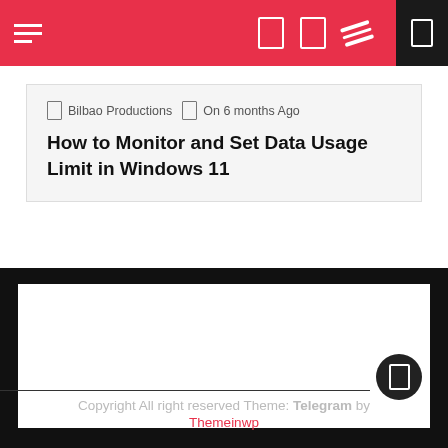Navigation bar with hamburger menu and icons
Bilbao Productions  On 6 months Ago
How to Monitor and Set Data Usage Limit in Windows 11
[Figure (infographic): Advertisement banner with orange text: SHOP. CONNECT. ENJOY. with Privacy label at bottom left]
Copyright All right reserved Theme: Telegram by Themeinwp